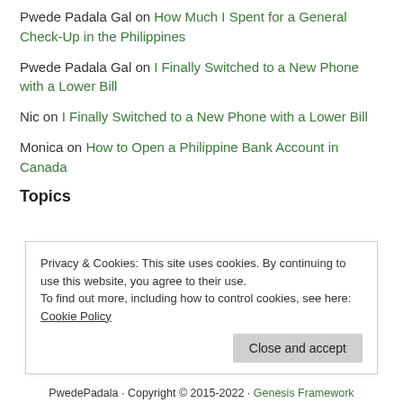Pwede Padala Gal on How Much I Spent for a General Check-Up in the Philippines
Pwede Padala Gal on I Finally Switched to a New Phone with a Lower Bill
Nic on I Finally Switched to a New Phone with a Lower Bill
Monica on How to Open a Philippine Bank Account in Canada
Topics
Privacy & Cookies: This site uses cookies. By continuing to use this website, you agree to their use. To find out more, including how to control cookies, see here: Cookie Policy
Close and accept
PwedePadala · Copyright © 2015-2022 · Genesis Framework